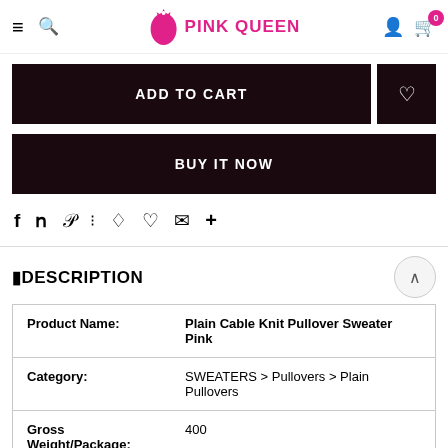PINK QUEEN
ADD TO CART
BUY IT NOW
f  y  p  ⠿  ♟  ♡  ✉  +
DESCRIPTION
| Field | Value |
| --- | --- |
| Product Name: | Plain Cable Knit Pullover Sweater Pink |
| Category: | SWEATERS > Pullovers > Plain Pullovers |
| Gross
Weight/Package: | 400 |